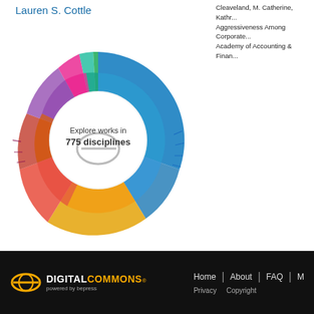Lauren S. Cottle
Cleaveland, M. Catherine, Kathr... Aggressiveness Among Corporate... Academy of Accounting & Finan...
[Figure (other): Interactive donut/sunburst chart showing 'Explore works in 775 disciplines' with multicolored segments in blue, gold, red, purple, magenta, teal, and green]
View Larger →
[Figure (logo): Find us on Facebook banner with Facebook logo icon]
Home | About | FAQ | M  Privacy  Copyright  DIGITALCOMMONS® powered by bepress